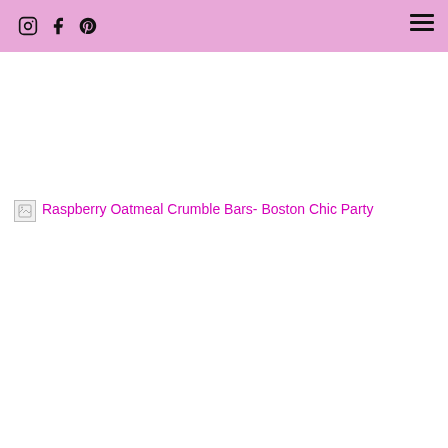Instagram Facebook Pinterest [menu]
Raspberry Oatmeal Crumble Bars- Boston Chic Party